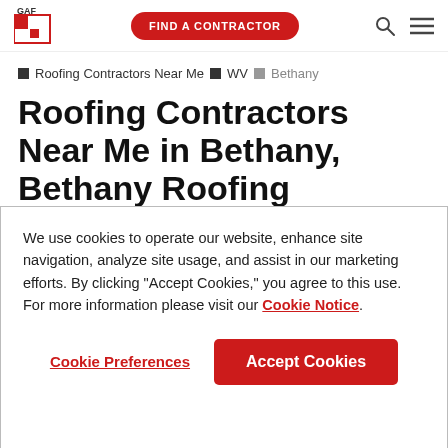GAF — FIND A CONTRACTOR
Roofing Contractors Near Me > WV > Bethany
Roofing Contractors Near Me in Bethany, Bethany Roofing Companies, Bethany Roofers (West Virginia)
We use cookies to operate our website, enhance site navigation, analyze site usage, and assist in our marketing efforts. By clicking "Accept Cookies," you agree to this use. For more information please visit our Cookie Notice.
Cookie Preferences | Accept Cookies